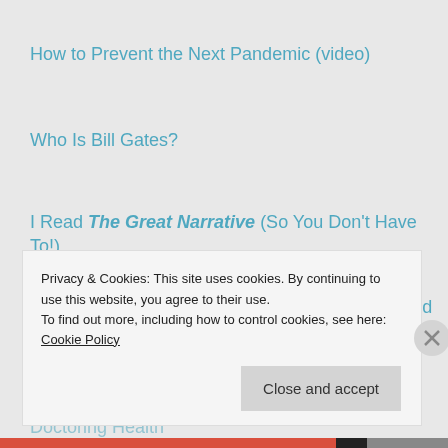How to Prevent the Next Pandemic (video)
Who Is Bill Gates?
I Read The Great Narrative (So You Don't Have To!)
Fact Check: Polio Vaccines, Tetanus Vaccines and the Gates Foundation
Doctoring Health
Privacy & Cookies: This site uses cookies. By continuing to use this website, you agree to their use.
To find out more, including how to control cookies, see here: Cookie Policy
Close and accept